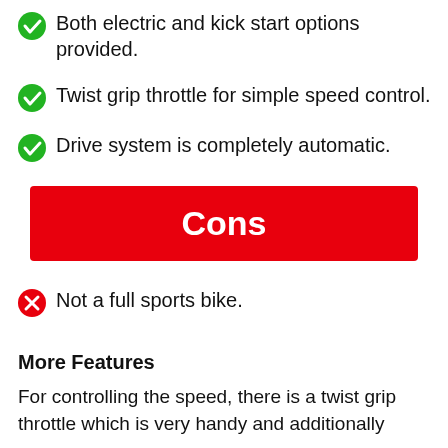Both electric and kick start options provided.
Twist grip throttle for simple speed control.
Drive system is completely automatic.
Cons
Not a full sports bike.
More Features
For controlling the speed, there is a twist grip throttle which is very handy and additionally